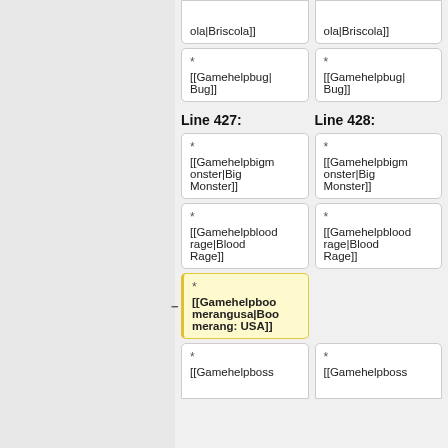ola|Briscola]]
ola|Briscola]]
* [[Gamehelpbug|Bug]]
* [[Gamehelpbug|Bug]]
Line 427:
Line 428:
* [[Gamehelpbigmonster|Big Monster]]
* [[Gamehelpbigmonster|Big Monster]]
* [[Gamehelpbloodrage|Blood Rage]]
* [[Gamehelpbloodrage|Blood Rage]]
* [[Gamehelpboomerangusa|Boomerang: USA]]
* [[Gamehelpboss
* [[Gamehelpboss